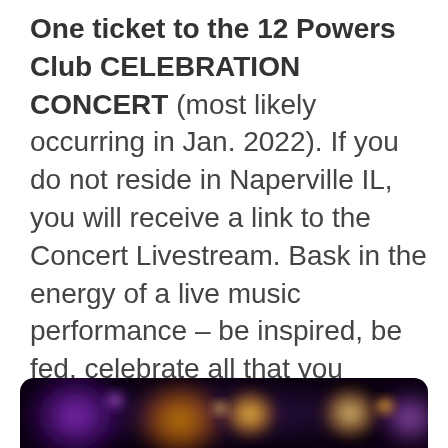One ticket to the 12 Powers Club CELEBRATION CONCERT (most likely occurring in Jan. 2022). If you do not reside in Naperville IL, you will receive a link to the Concert Livestream. Bask in the energy of a live music performance – be inspired, be fed, celebrate all that you accomplished and allowed during your 12 Powers Club membership!
[Figure (photo): Blurred bokeh concert lights photo with purple, orange, and yellow light orbs on a dark background]